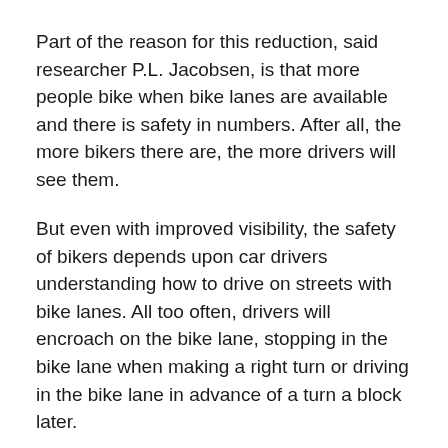Part of the reason for this reduction, said researcher P.L. Jacobsen, is that more people bike when bike lanes are available and there is safety in numbers. After all, the more bikers there are, the more drivers will see them.
But even with improved visibility, the safety of bikers depends upon car drivers understanding how to drive on streets with bike lanes. All too often, drivers will encroach on the bike lane, stopping in the bike lane when making a right turn or driving in the bike lane in advance of a turn a block later.
The evidence suggests that when cities undertake a comprehensive program of infrastructure development and public education – with a network of bike lanes and paths as well as the addition of street lighting and low-angled grades – bicycling rates increase and accident rates decline.